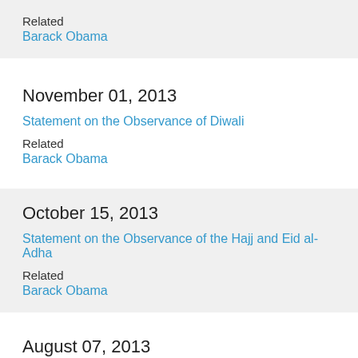Related
Barack Obama
November 01, 2013
Statement on the Observance of Diwali
Related
Barack Obama
October 15, 2013
Statement on the Observance of the Hajj and Eid al-Adha
Related
Barack Obama
August 07, 2013
Statement on the Observance of Eid al-Fitr